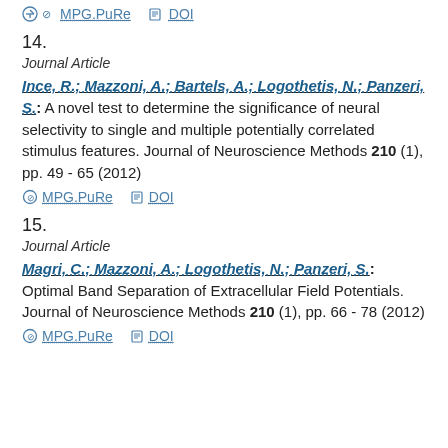MPG.PuRe   DOI
14.
Journal Article
Ince, R.; Mazzoni, A.; Bartels, A.; Logothetis, N.; Panzeri, S.: A novel test to determine the significance of neural selectivity to single and multiple potentially correlated stimulus features. Journal of Neuroscience Methods 210 (1), pp. 49 - 65 (2012)
MPG.PuRe   DOI
15.
Journal Article
Magri, C.; Mazzoni, A.; Logothetis, N.; Panzeri, S.: Optimal Band Separation of Extracellular Field Potentials. Journal of Neuroscience Methods 210 (1), pp. 66 - 78 (2012)
MPG.PuRe   DOI